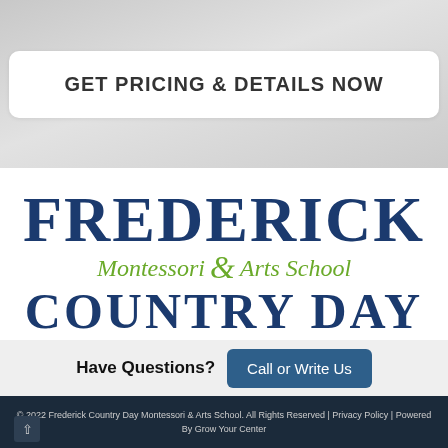GET PRICING & DETAILS NOW
[Figure (logo): Frederick Montessori & Arts School Country Day logo with school name in blue serif font and green italic text]
Have Questions?
Call or Write Us
© 2022 Frederick Country Day Montessori & Arts School. All Rights Reserved | Privacy Policy | Powered By Grow Your Center